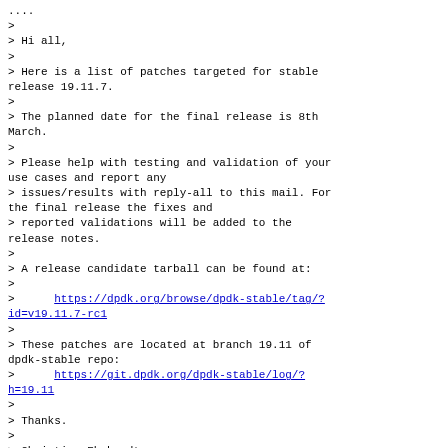....
>
> Hi all,
>
> Here is a list of patches targeted for stable release 19.11.7.
>
> The planned date for the final release is 8th March.
>
> Please help with testing and validation of your use cases and report any
> issues/results with reply-all to this mail. For the final release the fixes and
> reported validations will be added to the release notes.
>
> A release candidate tarball can be found at:
>
>      https://dpdk.org/browse/dpdk-stable/tag/?id=v19.11.7-rc1
>
> These patches are located at branch 19.11 of dpdk-stable repo:
>      https://git.dpdk.org/dpdk-stable/log/?h=19.11
>
> Thanks.
>
> Christian Ehrhardt
<christian.ehrhardt@canonical.com>